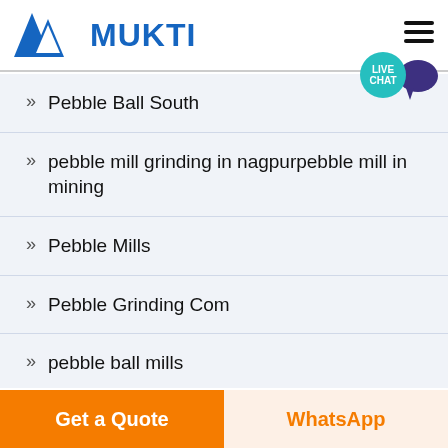MUKTI
Pebble Ball South
pebble mill grinding in nagpurpebble mill in mining
Pebble Mills
Pebble Grinding Com
pebble ball mills
Sag Mills Pebble
Get a Quote | WhatsApp